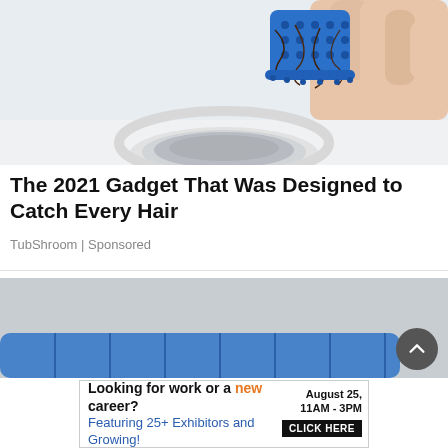[Figure (photo): Hand holding a blue silicone drain hair catcher/strainer over a bathroom sink drain, with collected hair visible in the strainer. White sink background.]
The 2021 Gadget That Was Designed to Catch Every Hair
TubShroom | Sponsored
[Figure (photo): Second image showing a blue TubShroom product against a gray background, partially visible at bottom of page.]
Looking for work or a new career? August 25, 11AM - 3PM Featuring 25+ Exhibitors and Growing! CLICK HERE